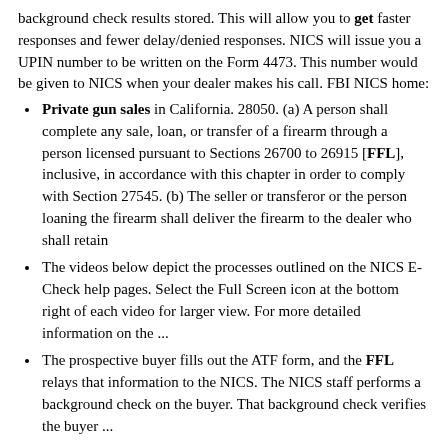background check results stored. This will allow you to get faster responses and fewer delay/denied responses. NICS will issue you a UPIN number to be written on the Form 4473. This number would be given to NICS when your dealer makes his call. FBI NICS home:
Private gun sales in California. 28050. (a) A person shall complete any sale, loan, or transfer of a firearm through a person licensed pursuant to Sections 26700 to 26915 [FFL], inclusive, in accordance with this chapter in order to comply with Section 27545. (b) The seller or transferor or the person loaning the firearm shall deliver the firearm to the dealer who shall retain
The videos below depict the processes outlined on the NICS E-Check help pages. Select the Full Screen icon at the bottom right of each video for larger view. For more detailed information on the ...
The prospective buyer fills out the ATF form, and the FFL relays that information to the NICS. The NICS staff performs a background check on the buyer. That background check verifies the buyer ...
The videos below depict the processes outlined on the NICS E-Check help pages. Select the Full Screen icon at the bottom right of each video for larger view. For more detailed information on the ...